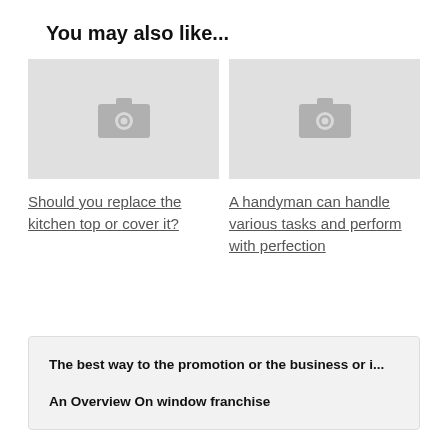You may also like...
[Figure (photo): Placeholder image with camera icon (left)]
[Figure (photo): Placeholder image with camera icon (right)]
Should you replace the kitchen top or cover it?
A handyman can handle various tasks and perform with perfection
The best way to the promotion or the business or i...
An Overview On window franchise